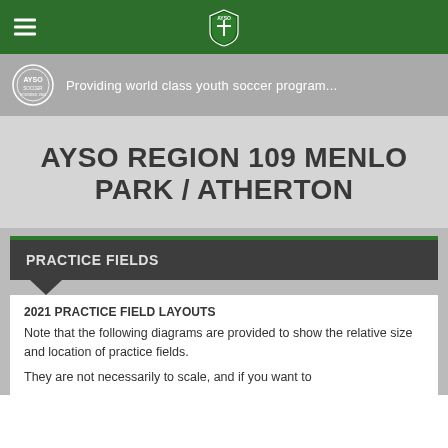AYSO navigation bar with hamburger menu and AYSO shield logo
Providing world class youth soccer program...
AYSO REGION 109 MENLO PARK / ATHERTON
PRACTICE FIELDS
2021 PRACTICE FIELD LAYOUTS
Note that the following diagrams are provided to show the relative size and location of practice fields.
They are not necessarily to scale, and if you want to